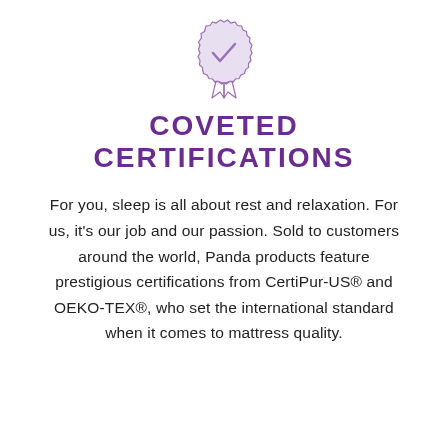[Figure (illustration): A certification badge / medal icon with a checkmark inside, rendered in light purple/lavender outline style with a serrated edge circle and a ribbon at the bottom.]
COVETED CERTIFICATIONS
For you, sleep is all about rest and relaxation. For us, it's our job and our passion. Sold to customers around the world, Panda products feature prestigious certifications from CertiPur-US® and OEKO-TEX®, who set the international standard when it comes to mattress quality.